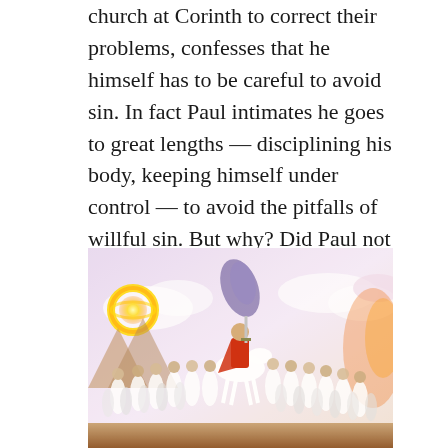church at Corinth to correct their problems, confesses that he himself has to be careful to avoid sin. In fact Paul intimates he goes to great lengths — disciplining his body, keeping himself under control — to avoid the pitfalls of willful sin. But why? Did Paul not believe in the perseverance of the saints, or in the eternal security of believers?
[Figure (illustration): Religious illustration depicting a rider on a white horse in red garments leading a large group of figures dressed in white robes, with a glowing golden ring/halo in the upper left, clouds in the background — appears to represent a heavenly or apocalyptic scene.]